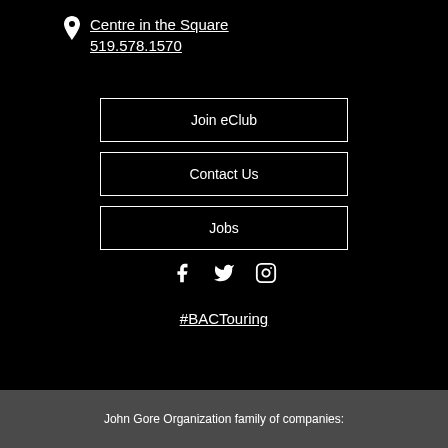Centre in the Square
519.578.1570
Join eClub
Contact Us
Jobs
[Figure (illustration): Social media icons: Facebook, Twitter, Instagram]
#BACTouring
John Gore Organization family of companies: